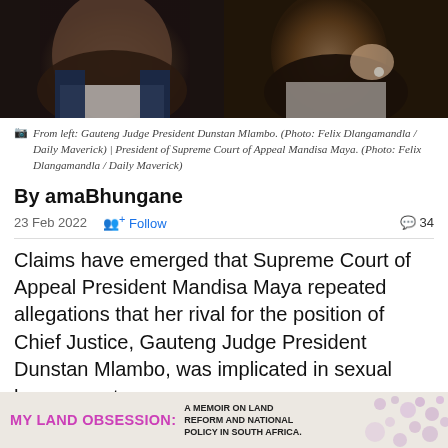[Figure (photo): Split photo showing two people side by side: left side shows Gauteng Judge President Dunstan Mlambo, right side shows President of Supreme Court of Appeal Mandisa Maya with hand raised to chin.]
From left: Gauteng Judge President Dunstan Mlambo. (Photo: Felix Dlangamandla / Daily Maverick) | President of Supreme Court of Appeal Mandisa Maya. (Photo: Felix Dlangamandla / Daily Maverick)
By amaBhungane
23 Feb 2022   Follow   34
Claims have emerged that Supreme Court of Appeal President Mandisa Maya repeated allegations that her rival for the position of Chief Justice, Gauteng Judge President Dunstan Mlambo, was implicated in sexual harassment.
[Figure (infographic): Advertisement banner: MY LAND OBSESSION: A MEMOIR ON LAND REFORM AND NATIONAL POLICY IN SOUTH AFRICA.]